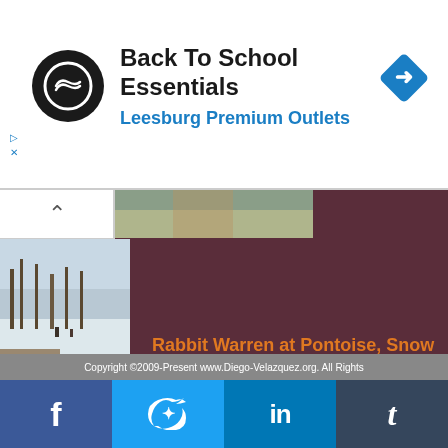[Figure (infographic): Advertisement banner for Back To School Essentials at Leesburg Premium Outlets. Has a circular black logo with loop symbol, text, and a blue diamond with right-arrow icon.]
Back To School Essentials
Leesburg Premium Outlets
Rabbit Warren at Pontoise, Snow
Self Portrait
Copyright ©2009-Present www.Diego-Velazquez.org. All Rights
[Figure (other): Social media share bar with Facebook, Twitter, LinkedIn, and Tumblr buttons]